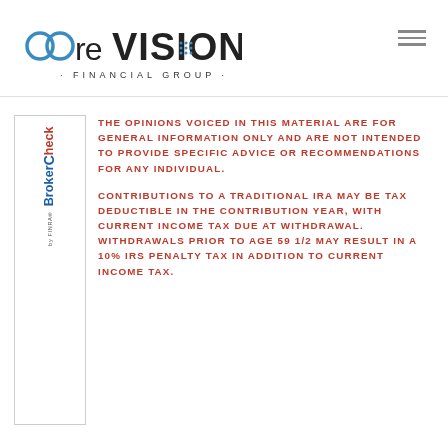core VISION FINANCIAL GROUP
[Figure (logo): coreVISION Financial Group logo with BrokerCheck by FINRA badge on sidebar]
THE OPINIONS VOICED IN THIS MATERIAL ARE FOR GENERAL INFORMATION ONLY AND ARE NOT INTENDED TO PROVIDE SPECIFIC ADVICE OR RECOMMENDATIONS FOR ANY INDIVIDUAL.
CONTRIBUTIONS TO A TRADITIONAL IRA MAY BE TAX DEDUCTIBLE IN THE CONTRIBUTION YEAR, WITH CURRENT INCOME TAX DUE AT WITHDRAWAL. WITHDRAWALS PRIOR TO AGE 59 1/2 MAY RESULT IN A 10% IRS PENALTY TAX IN ADDITION TO CURRENT INCOME TAX.